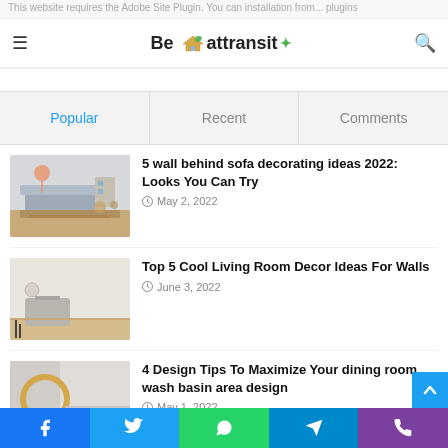This website requires the Adobe Site Plugin. You can installation from...
Be attransit (logo/nav header)
Popular | Recent | Comments (tab bar)
[Figure (photo): Living room with grey sofa, wooden shelf, and pink pendant lamp]
5 wall behind sofa decorating ideas 2022: Looks You Can Try
May 2, 2022
[Figure (photo): Minimalist living room with grey armchair against white wall]
Top 5 Cool Living Room Decor Ideas For Walls
June 3, 2022
[Figure (photo): Bathroom area with round mirror and wash basin]
4 Design Tips To Maximize Your dining room wash basin area design
May 1, 2022
Facebook | Twitter | WhatsApp | Telegram | Phone (social share bar)